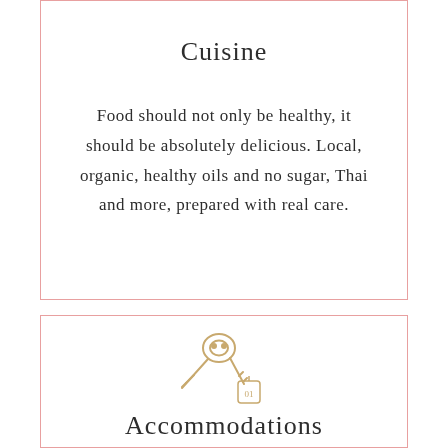Cuisine
Food should not only be healthy, it should be absolutely delicious. Local, organic, healthy oils and no sugar, Thai and more, prepared with real care.
[Figure (illustration): Line art icon of hotel/room keys with a keychain tag showing numbers 01]
Accommodations